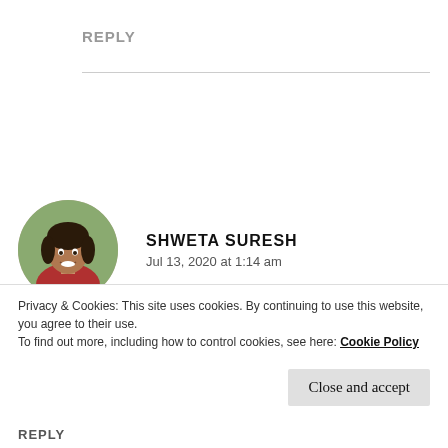REPLY
SHWETA SURESH
Jul 13, 2020 at 1:14 am
Congratulations. dear. Here’s to many more. And
Privacy & Cookies: This site uses cookies. By continuing to use this website, you agree to their use.
To find out more, including how to control cookies, see here: Cookie Policy
Close and accept
REPLY